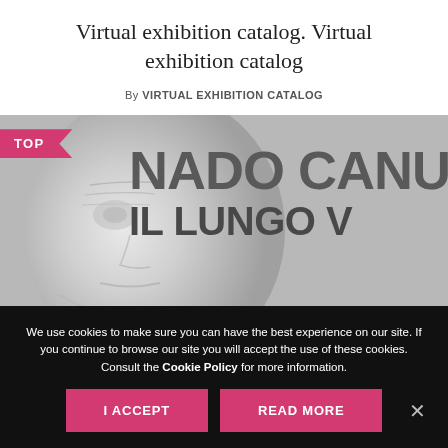Virtual exhibition catalog. Virtual exhibition catalog
By VIRTUAL EXHIBITION CATALOG
[Figure (photo): Exhibition catalog image showing a sculpted elderly face in grayscale with overlaid bold text reading 'NADO CANU' and 'IL LUNGO' with a pink 'TOP' badge in the upper left corner.]
We use cookies to make sure you can have the best experience on our site. If you continue to browse our site you will accept the use of these cookies. Consult the Cookie Policy for more information.
I ACCEPT
READ MORE